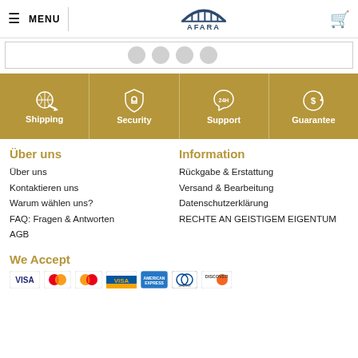MENU | AFARA (logo) | cart
[Figure (screenshot): Social media icons row partially visible]
[Figure (infographic): Gold banner with four service icons: Shipping, Security, Support, Guarantee]
Über uns
Über uns
Kontaktieren uns
Warum wählen uns?
FAQ: Fragen & Antworten
AGB
Information
Rückgabe & Erstattung
Versand & Bearbeitung
Datenschutzerklärung
RECHTE AN GEISTIGEM EIGENTUM
We Accept
[Figure (infographic): Payment method icons: VISA, Mastercard, Mastercard (orange), VISA debit, American Express, Diners Club, Discover]